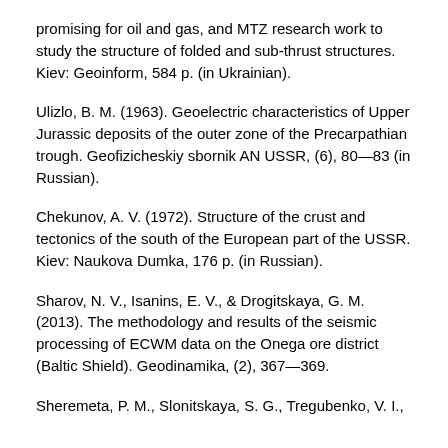promising for oil and gas, and MTZ research work to study the structure of folded and sub-thrust structures. Kiev: Geoinform, 584 p. (in Ukrainian).
Ulizlo, B. M. (1963). Geoelectric characteristics of Upper Jurassic deposits of the outer zone of the Precarpathian trough. Geofizicheskiy sbornik AN USSR, (6), 80—83 (in Russian).
Chekunov, A. V. (1972). Structure of the crust and tectonics of the south of the European part of the USSR. Kiev: Naukova Dumka, 176 p. (in Russian).
Sharov, N. V., Isanins, E. V., & Drogitskaya, G. M. (2013). The methodology and results of the seismic processing of ECWM data on the Onega ore district (Baltic Shield). Geodinamika, (2), 367—369.
Sheremeta, P. M., Slonitskaya, S. G., Tregubenko, V. I.,